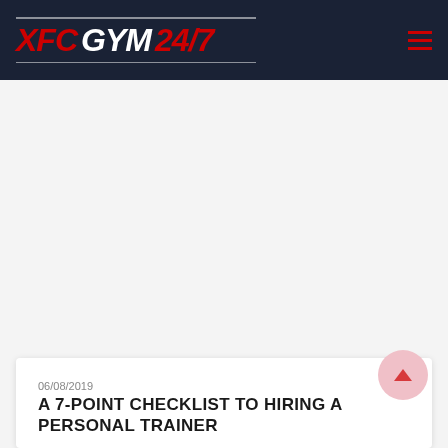XFC GYM 24/7
06/08/2019
A 7-POINT CHECKLIST TO HIRING A PERSONAL TRAINER